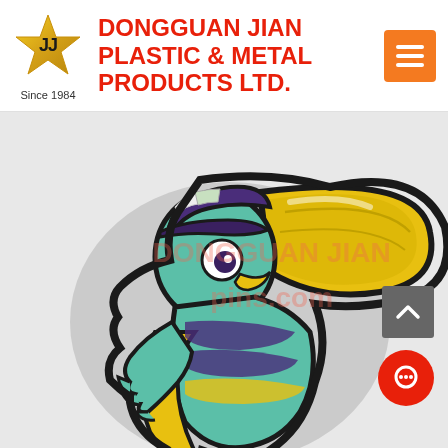[Figure (logo): JJ gold star logo with 'JJ' text inside]
DONGGUAN JIAN PLASTIC & METAL PRODUCTS LTD.
Since 1984
[Figure (photo): Embroidered patch of a cartoon toucan bird character wearing a cap and holding a surfboard, with a large yellow beak. Watermark text reads 'DONGGUAN JIAN' and 'pins.com' overlaid on the image.]